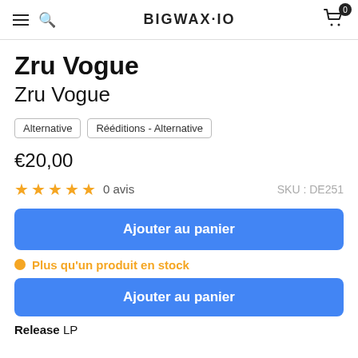BIGWAX.IO
Zru Vogue
Zru Vogue
Alternative
Rééditions - Alternative
€20,00
★★★★★ 0 avis
SKU : DE251
Ajouter au panier
Plus qu'un produit en stock
Ajouter au panier
Release LP